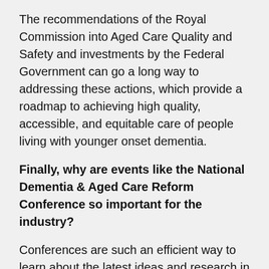The recommendations of the Royal Commission into Aged Care Quality and Safety and investments by the Federal Government can go a long way to addressing these actions, which provide a roadmap to achieving high quality, accessible, and equitable care of people living with younger onset dementia.
Finally, why are events like the National Dementia & Aged Care Reform Conference so important for the industry?
Conferences are such an efficient way to learn about the latest ideas and research in the field, and about things that I would not normally look into or read about. I always